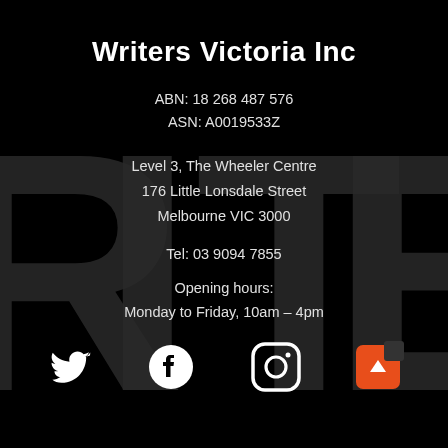Writers Victoria Inc
ABN: 18 268 487 576
ASN: A0019533Z
Level 3, The Wheeler Centre
176 Little Lonsdale Street
Melbourne VIC 3000
Tel: 03 9094 7855
Opening hours:
Monday to Friday, 10am – 4pm
[Figure (illustration): Social media icons: Twitter (bird), Facebook (f), Instagram (camera), and an orange scroll-to-top button]